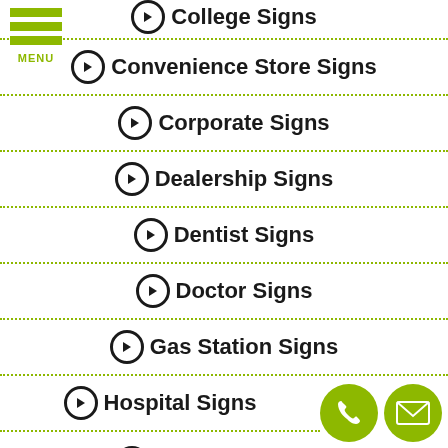College Signs
Convenience Store Signs
Corporate Signs
Dealership Signs
Dentist Signs
Doctor Signs
Gas Station Signs
Hospital Signs
Hospitality Signs
[Figure (illustration): Phone contact button (green circle with phone icon) and email contact button (green circle with envelope icon) in bottom right corner]